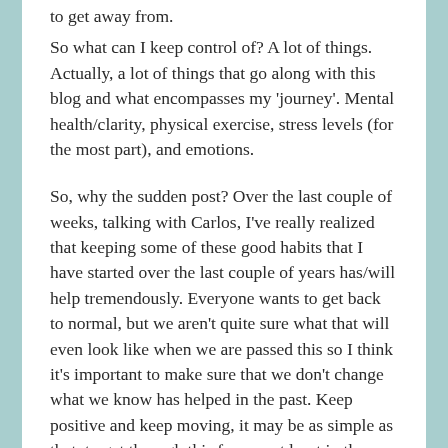to get away from.
So what can I keep control of? A lot of things. Actually, a lot of things that go along with this blog and what encompasses my 'journey'. Mental health/clarity, physical exercise, stress levels (for the most part), and emotions.
So, why the sudden post? Over the last couple of weeks, talking with Carlos, I've really realized that keeping some of these good habits that I have started over the last couple of years has/will help tremendously. Everyone wants to get back to normal, but we aren't quite sure what that will even look like when we are passed this so I think it's important to make sure that we don't change what we know has helped in the past. Keep positive and keep moving, it may be as simple as that, to get through this for me, at least in the capacity of this journey.